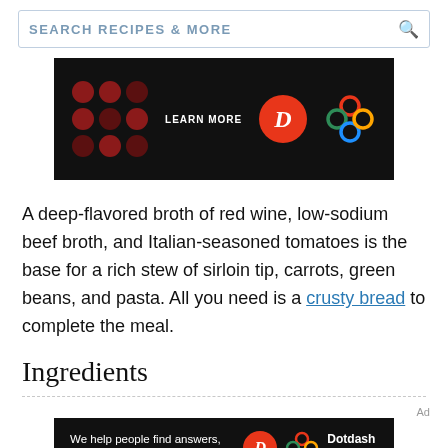SEARCH RECIPES & MORE
[Figure (advertisement): Dark advertisement banner with red dot grid pattern, a red circle with D logo, and colorful rings logo on black background with 'LEARN MORE' text]
A deep-flavored broth of red wine, low-sodium beef broth, and Italian-seasoned tomatoes is the base for a rich stew of sirloin tip, carrots, green beans, and pasta. All you need is a crusty bread to complete the meal.
Ingredients
[Figure (advertisement): Dotdash Meredith advertisement on black background: 'We help people find answers, solve problems and get inspired.' with D logo and colorful rings logo]